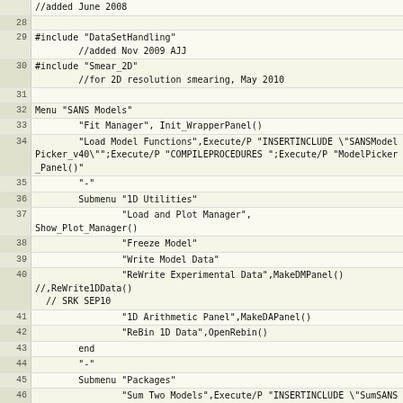Code listing lines 28-48 showing IGOR Pro menu definition for SANS Models including includes, menu entries, submenus for 1D Utilities and Packages